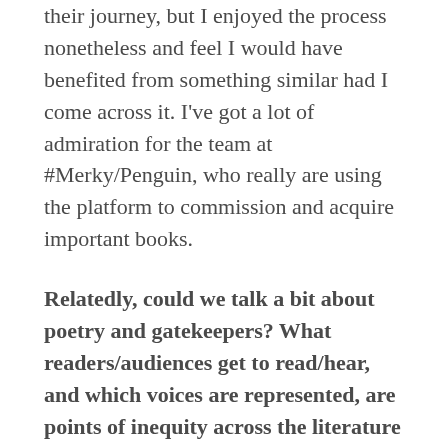aimed at those who might be at the start of their journey, but I enjoyed the process nonetheless and feel I would have benefited from something similar had I come across it. I've got a lot of admiration for the team at #Merky/Penguin, who really are using the platform to commission and acquire important books.
Relatedly, could we talk a bit about poetry and gatekeepers? What readers/audiences get to read/hear, and which voices are represented, are points of inequity across the literature sector. Whereas performance poetry is becoming more and more ecumenical, in print poetry, the chain of writer, agent, publisher, critic etc. is beset by an absence of BAME and working-class voices. There are some important initiatives working to better this – like